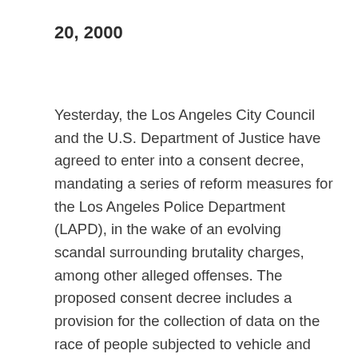20, 2000
Yesterday, the Los Angeles City Council and the U.S. Department of Justice have agreed to enter into a consent decree, mandating a series of reform measures for the Los Angeles Police Department (LAPD), in the wake of an evolving scandal surrounding brutality charges, among other alleged offenses. The proposed consent decree includes a provision for the collection of data on the race of people subjected to vehicle and pedestrian stops and provides for an independent monitor to ensure that the agreed-upon reforms are put in place. “The consent decree contains many strong provisions addressing police brutality and corruption,” said Katherino Spillar, National